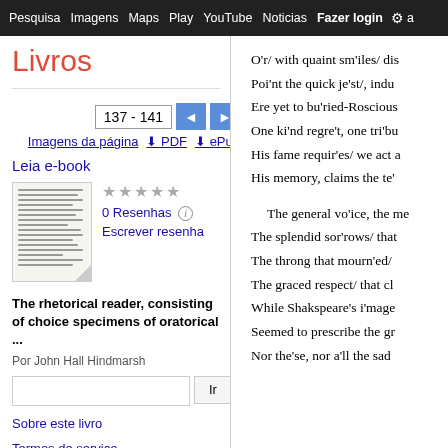Pesquisa  Imagens  Maps  Play  YouTube  Noticias  Fazer login  Configurações
Livros
137 - 141
Imagens da página  PDF  ePub
Leia e-book
0 Resenhas
Escrever resenha
The rhetorical reader, consisting of choice specimens of oratorical ...
Por John Hall Hindmarsh
Sobre este livro
Termos de serviço
O'r/ with quaint sm'iles/ dis...
Poi'nt the quick je'st/, indu...
Ere yet to bu'ried-Roscious...
One ki'nd regre't, one tri'bu...
His fame requir'es/ we act a...
His memory, claims the te'...

The general vo'ice, the me...
The splendid sor'rows/ that...
The throng that mourn'ed/...
The graced respect/ that cl...
While Shakspeare's i'mage...
Seemed to prescribe the gr...
Nor the'se, nor a'll the sad...